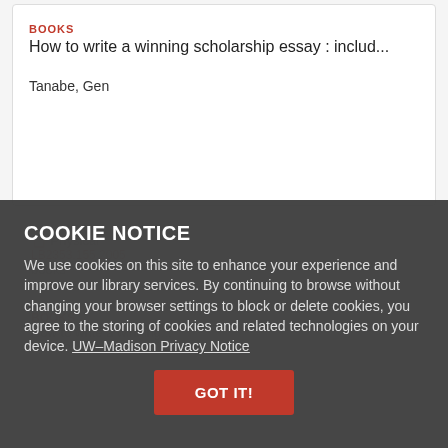BOOKS
How to write a winning scholarship essay : includ...
Tanabe, Gen
COOKIE NOTICE
We use cookies on this site to enhance your experience and improve our library services. By continuing to browse without changing your browser settings to block or delete cookies, you agree to the storing of cookies and related technologies on your device. UW–Madison Privacy Notice
GOT IT!